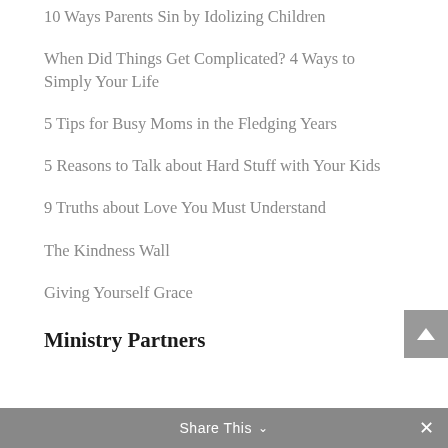10 Ways Parents Sin by Idolizing Children
When Did Things Get Complicated? 4 Ways to Simply Your Life
5 Tips for Busy Moms in the Fledging Years
5 Reasons to Talk about Hard Stuff with Your Kids
9 Truths about Love You Must Understand
The Kindness Wall
Giving Yourself Grace
Ministry Partners
Share This ∨   ✕